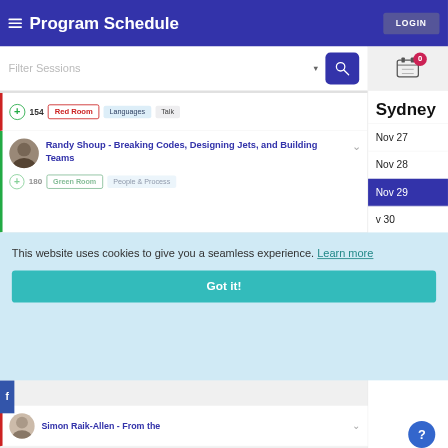Program Schedule | LOGIN
Filter Sessions
Sydney
Nov 27
Nov 28
Nov 29
Nov 30
c 13
154  Red Room  Languages  Talk
Randy Shoup - Breaking Codes, Designing Jets, and Building Teams
180  Green Room  People & Process
This website uses cookies to give you a seamless experience.  Learn more
Got it!
Simon Raik-Allen - From the